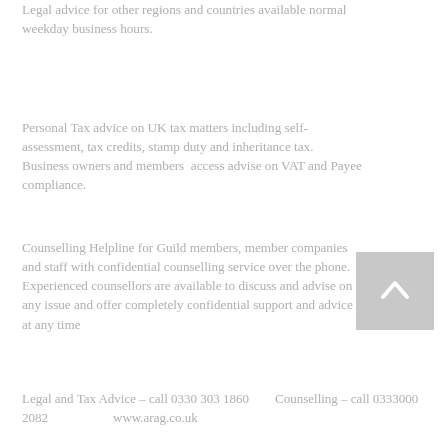Legal advice for other regions and countries available normal weekday business hours.
Personal Tax advice on UK tax matters including self-assessment, tax credits, stamp duty and inheritance tax. Business owners and members access advise on VAT and Payee compliance.
Counselling Helpline for Guild members, member companies and staff with confidential counselling service over the phone. Experienced counsellors are available to discuss and advise on any issue and offer completely confidential support and advice at any time
Legal and Tax Advice – call 0330 303 1860        Counselling – call 0333000 2082                www.arag.co.uk